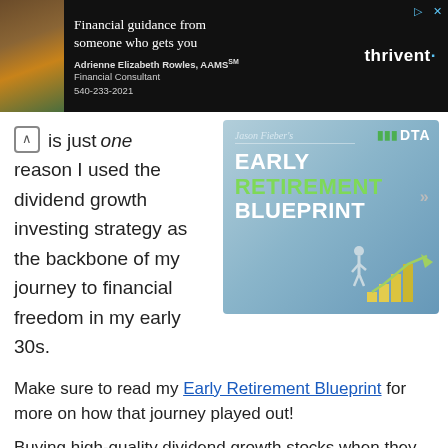[Figure (screenshot): Thrivent financial advisor advertisement banner with black background, showing text 'Financial guidance from someone who gets you', advisor name 'Adrienne Elizabeth Rowles, AAMS', phone number '540-233-2021', Thrivent logo, and a photo of the advisor with a horse.]
is just one reason I used the dividend growth investing strategy as the backbone of my journey to financial freedom in my early 30s.
[Figure (screenshot): DTA advertisement for Jason Fieber's Early Retirement Blueprint. Light blue background with a figure of a person walking, growing bar charts in yellow/green, DTA logo in top right, and text 'Jason Fieber’s EARLY RETIREMENT BLUEPRINT' with a right-arrow button.]
Make sure to read my Early Retirement Blueprint for more on how that journey played out!
Buying high-quality dividend growth stocks when they